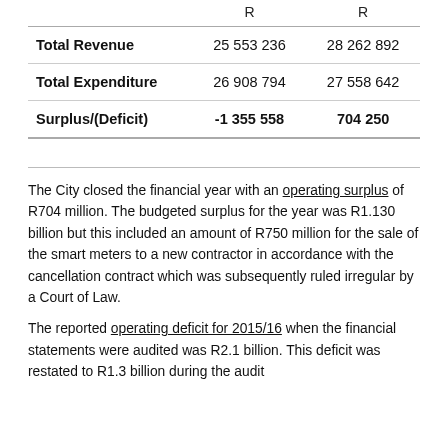|  | R | R |
| --- | --- | --- |
| Total Revenue | 25 553 236 | 28 262 892 |
| Total Expenditure | 26 908 794 | 27 558 642 |
| Surplus/(Deficit) | -1 355 558 | 704 250 |
The City closed the financial year with an operating surplus of R704 million. The budgeted surplus for the year was R1.130 billion but this included an amount of R750 million for the sale of the smart meters to a new contractor in accordance with the cancellation contract which was subsequently ruled irregular by a Court of Law.
The reported operating deficit for 2015/16 when the financial statements were audited was R2.1 billion. This deficit was restated to R1.3 billion during the audit